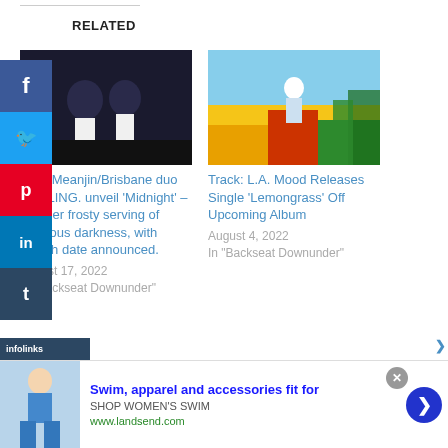RELATED
[Figure (photo): Two people in dark tops and white pants standing together]
Track: Meanjin/Brisbane duo DARLING. unveil 'Midnight' – another frosty serving of delicious darkness, with launch date announced.
August 17, 2022
In "Backseat Downunder"
[Figure (photo): Person standing in front of colorful graffiti wall outdoors]
Track: L.A. Mood Releases Single 'Lemongrass' Off Upcoming Album
August 4, 2022
In "Backseat Downunder"
Swim, apparel and accessories fit for
SHOP WOMEN'S SWIM
www.landsend.com